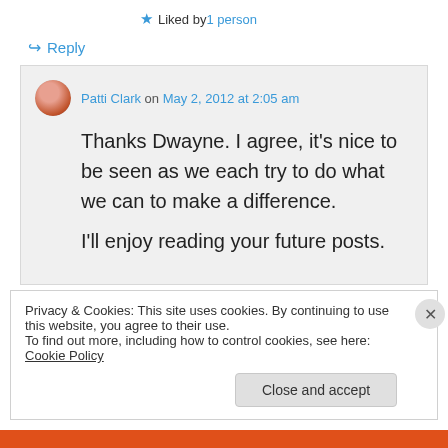★ Liked by 1 person
↪ Reply
Patti Clark on May 2, 2012 at 2:05 am
Thanks Dwayne. I agree, it's nice to be seen as we each try to do what we can to make a difference.
I'll enjoy reading your future posts.
Privacy & Cookies: This site uses cookies. By continuing to use this website, you agree to their use.
To find out more, including how to control cookies, see here: Cookie Policy